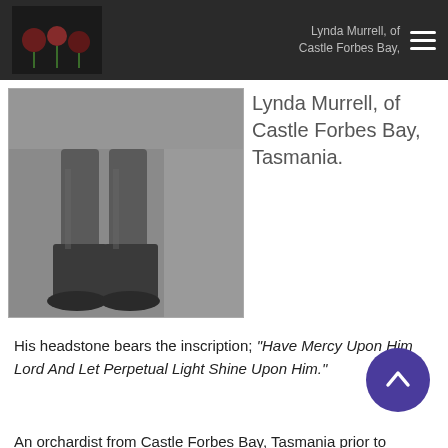Lynda Murrell, of Castle Forbes Bay, Tasmania.
[Figure (photo): Black and white photograph showing the lower body of a soldier in military uniform with tall leather boots, standing on a light ground.]
Lynda Murrell, of Castle Forbes Bay, Tasmania.
His headstone bears the inscription; "Have Mercy Upon Him Lord And Let Perpetual Light Shine Upon Him."
An orchardist from Castle Forbes Bay, Tasmania prior to enlistment, Pte Murrell embarked with the 21st Reinforcements from Melbourne HMAT Suffolk on 30 September 1916. Later wounded in action, he remained on duty. Subsequently gassed he was evacuated to